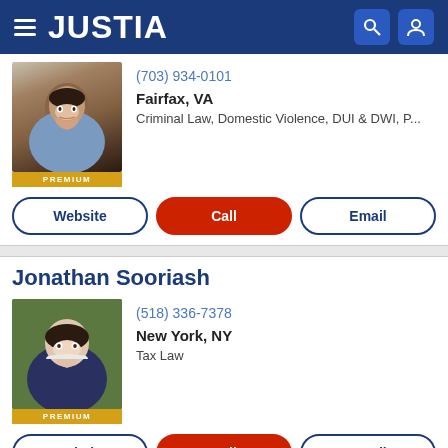JUSTIA
(703) 934-0101
Fairfax, VA
Criminal Law, Domestic Violence, DUI & DWI, P...
Website | Call | Email
Jonathan Sooriash
(518) 336-7378
New York, NY
Tax Law
Website | Call | Email
Benjamin W. Glass III